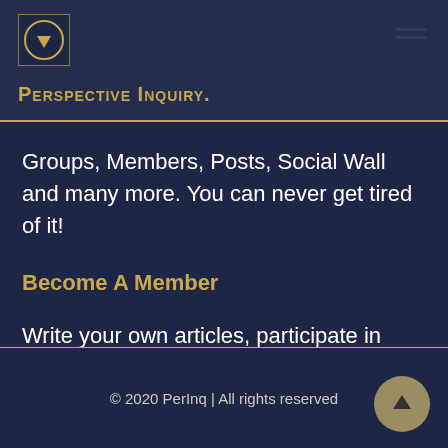Perspective Inquiry.
Groups, Members, Posts, Social Wall and many more. You can never get tired of it!
Become A Member
Write your own articles, participate in group discussion and much more. Create an Account Today
© 2020 PerInq | All rights reserved